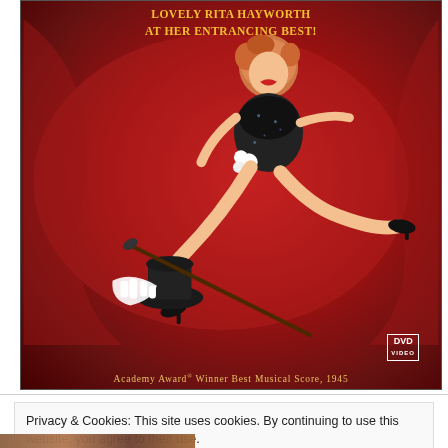[Figure (photo): DVD cover for a 1944 film featuring Rita Hayworth in a black sequined outfit posed on red fabric, with a top hat, white gloves, and cane. Text reads 'LOVELY RITA HAYWORTH AT HER ENTRANCING BEST!' at top and 'ACADEMY AWARD WINNER BEST MUSICAL SCORE, 1945' at bottom. DVD Video logo visible.]
Privacy & Cookies: This site uses cookies. By continuing to use this website, you agree to their use.
To find out more, including how to control cookies, see here: Cookie Policy
Close and accept
[Figure (photo): Partial bottom strip showing a cropped photo, appears to be a person's face/hair in warm tones.]